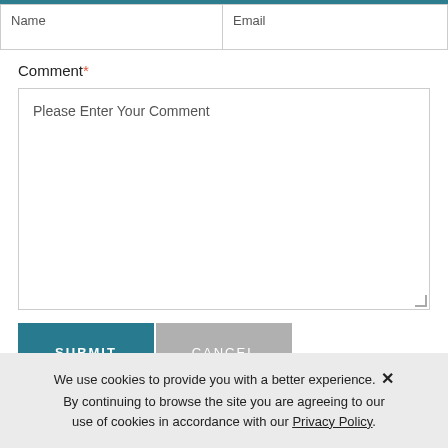Name
Email
Comment*
Please Enter Your Comment
SUBMIT
CANCEL
We use cookies to provide you with a better experience. × By continuing to browse the site you are agreeing to our use of cookies in accordance with our Privacy Policy.